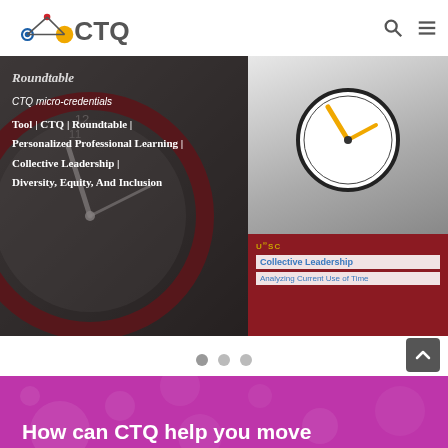[Figure (logo): CTQ logo with connected nodes and text 'CTQ']
[Figure (screenshot): Hero banner showing a clock background on the left and a Collective Leadership micro-credential thumbnail on the right, with overlay text listing CTQ offerings]
Roundtable
CTQ micro-credentials
Tool | CTQ | Roundtable | Personalized Professional Learning | Collective Leadership | Diversity, Equity, And Inclusion
[Figure (other): Carousel navigation dots (3 dots)]
How can CTQ help you move